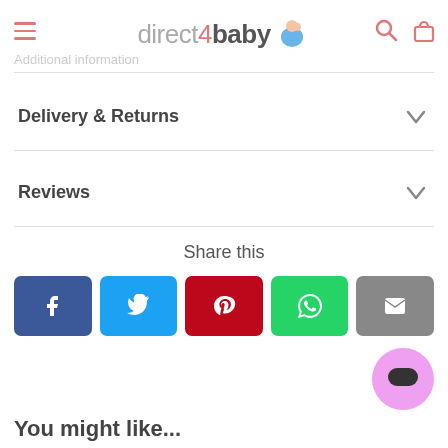direct4baby
Additional information
Delivery & Returns
Reviews
Share this
You might like...